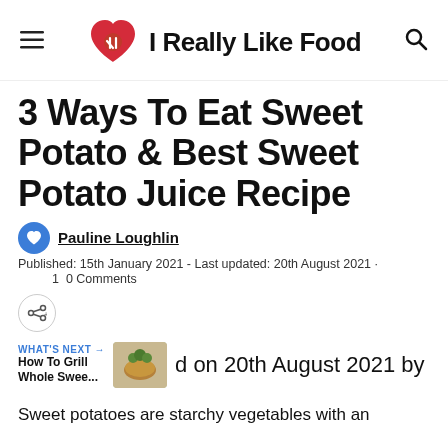I Really Like Food
3 Ways To Eat Sweet Potato & Best Sweet Potato Juice Recipe
Pauline Loughlin
Published: 15th January 2021 - Last updated: 20th August 2021 · 1 0 Comments
WHAT'S NEXT → How To Grill Whole Swee... d on 20th August 2021 by
Sweet potatoes are starchy vegetables with an